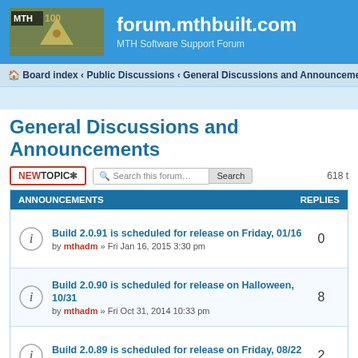forum.mthbuilt.com — MTH Software Support Forum
Board index ‹ Public Discussions ‹ General Discussions and Announcements
General Discussions and Announcements
| ANNOUNCEMENTS | REPLIES |
| --- | --- |
| Build 2.0.91 is scheduled for release on Friday, 01/16 — by mthadm » Fri Jan 16, 2015 3:30 pm | 0 |
| Build 2.0.90 is scheduled for release on Halloween, 10/31 — by mthadm » Fri Oct 31, 2014 10:33 pm | 8 |
| Build 2.0.89 is scheduled for release on Friday, 08/22 — by mthadm » Mon Aug 25, 2014 1:12 pm | 2 |
| Build 2.0.88 is scheduled for release on Friday, 05/16 — by mthadm » Fri May 16, 2014 9:12 pm | 0 |